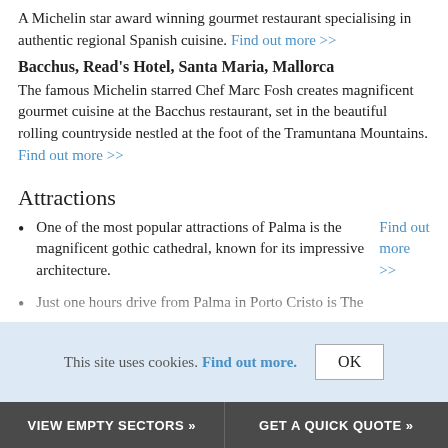A Michelin star award winning gourmet restaurant specialising in authentic regional Spanish cuisine. Find out more >>
Bacchus, Read's Hotel, Santa Maria, Mallorca
The famous Michelin starred Chef Marc Fosh creates magnificent gourmet cuisine at the Bacchus restaurant, set in the beautiful rolling countryside nestled at the foot of the Tramuntana Mountains. Find out more >>
Attractions
One of the most popular attractions of Palma is the magnificent gothic cathedral, known for its impressive architecture. Find out more >>
Just one hours drive from Palma in Porto Cristo is The
This site uses cookies. Find out more. OK
VIEW EMPTY SECTORS »   GET A QUICK QUOTE »